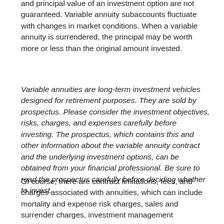and principal value of an investment option are not guaranteed. Variable annuity subaccounts fluctuate with changes in market conditions. When a variable annuity is surrendered, the principal may be worth more or less than the original amount invested.
Variable annuities are long-term investment vehicles designed for retirement purposes. They are sold by prospectus. Please consider the investment objectives, risks, charges, and expenses carefully before investing. The prospectus, which contains this and other information about the variable annuity contract and the underlying investment options, can be obtained from your financial professional. Be sure to read the prospectus carefully before deciding whether to invest.
Of course, there are contract limitations, fees, and charges associated with annuities, which can include mortality and expense risk charges, sales and surrender charges, investment management